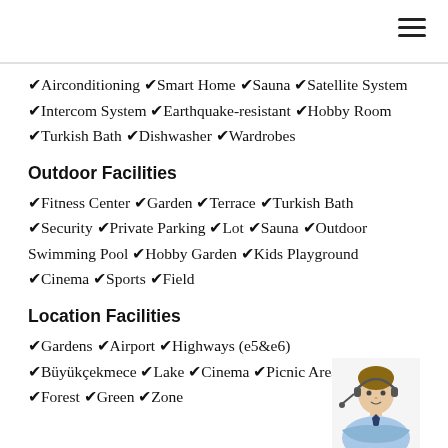✔Airconditioning ✔Smart Home ✔Sauna ✔Satellite System ✔Intercom System ✔Earthquake-resistant ✔Hobby Room ✔Turkish Bath ✔Dishwasher ✔Wardrobes
Outdoor Facilities
✔Fitness Center ✔Garden ✔Terrace ✔Turkish Bath ✔Security ✔Private Parking ✔Lot ✔Sauna ✔Outdoor Swimming Pool ✔Hobby Garden ✔Kids Playground ✔Cinema ✔Sports ✔Field
Location Facilities
✔Gardens ✔Airport ✔Highways (e5&e6) ✔Büyükçekmece ✔Lake ✔Cinema ✔Picnic Area ✔Forest ✔Green ✔Zone
[Figure (photo): Person wearing headset, sitting with arms crossed, business attire]